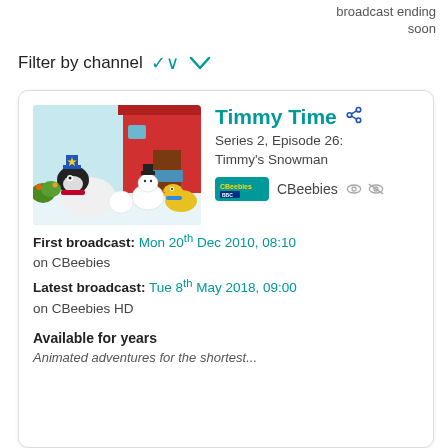broadcast ending soon
Filter by channel ▾
[Figure (photo): Timmy Time stop-motion animation still showing Timmy the lamb and a duck in a snowy outdoor scene with a red barn and snowman.]
Timmy Time
Series 2, Episode 26: Timmy's Snowman
CBeebies
First broadcast: Mon 20th Dec 2010, 08:10 on CBeebies
Latest broadcast: Tue 8th May 2018, 09:00 on CBeebies HD
Available for years
Animated adventures for the shortest...